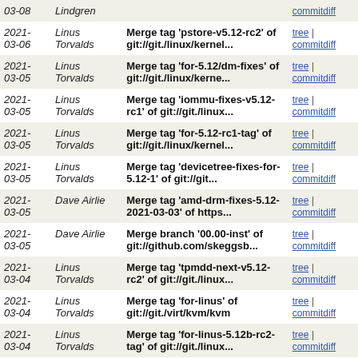| Date | Author | Commit message | Links |
| --- | --- | --- | --- |
| 2021-03-08 | Lindgren |  | commitdiff |
| 2021-03-06 | Linus Torvalds | Merge tag 'pstore-v5.12-rc2' of git://git./linux/kernel... | tree | commitdiff |
| 2021-03-05 | Linus Torvalds | Merge tag 'for-5.12/dm-fixes' of git://git./linux/kerne... | tree | commitdiff |
| 2021-03-05 | Linus Torvalds | Merge tag 'iommu-fixes-v5.12-rc1' of git://git./linux... | tree | commitdiff |
| 2021-03-05 | Linus Torvalds | Merge tag 'for-5.12-rc1-tag' of git://git./linux/kernel... | tree | commitdiff |
| 2021-03-05 | Linus Torvalds | Merge tag 'devicetree-fixes-for-5.12-1' of git://git... | tree | commitdiff |
| 2021-03-05 | Dave Airlie | Merge tag 'amd-drm-fixes-5.12-2021-03-03' of https... | tree | commitdiff |
| 2021-03-05 | Dave Airlie | Merge branch '00.00-inst' of git://github.com/skeggsb... | tree | commitdiff |
| 2021-03-04 | Linus Torvalds | Merge tag 'tpmdd-next-v5.12-rc2' of git://git./linux... | tree | commitdiff |
| 2021-03-04 | Linus Torvalds | Merge tag 'for-linus' of git://git./virt/kvm/kvm | tree | commitdiff |
| 2021-03-04 | Linus Torvalds | Merge tag 'for-linus-5.12b-rc2-tag' of git://git./linux... | tree | commitdiff |
| 2021-03-04 | David S. Miller | Merge tag 'wireless-drivers-2021-03-03' of git://git... | tree | commitdiff |
| 2021-03-02 | Takashi Iwai | Merge tag 'tags/sound-sdw-kconfig-fixes' into for-linus | tree | commitdiff |
| 2021- | Takashi | Merge branch 'for-linus' into for-next | tree | commitdiff |